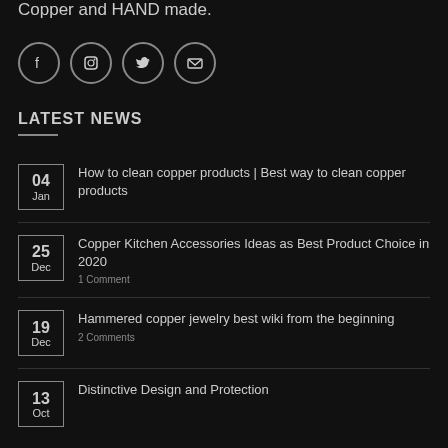Copper and HAND made.
[Figure (infographic): Four social media icons in circles: Facebook, Instagram, Twitter, Email]
LATEST NEWS
04 Jan — How to clean copper products | Best way to clean copper products
25 Dec — Copper Kitchen Accessories Ideas as Best Product Choice in 2020 — 1 Comment
19 Dec — Hammered copper jewelry best wiki from the beginning — 2 Comments
13 Oct — Distinctive Design and Protection